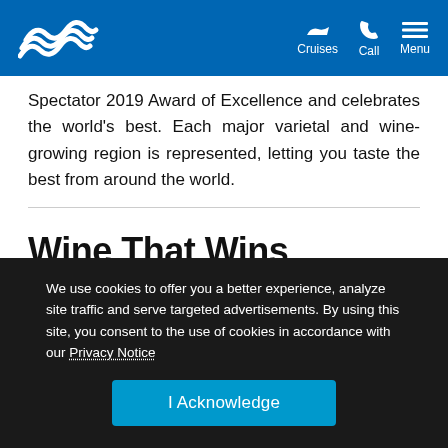Cruises | Call | Menu
Spectator 2019 Award of Excellence and celebrates the world's best. Each major varietal and wine-growing region is represented, letting you taste the best from around the world.
Wine That Wins Awards
Our onboard dining room has received the prestigious Wine Spectator's 2019 Award of Excellence. Our extensive wine list makes it easier to choose what suits your mood and taste by
We use cookies to offer you a better experience, analyze site traffic and serve targeted advertisements. By using this site, you consent to the use of cookies in accordance with our Privacy Notice
I Acknowledge